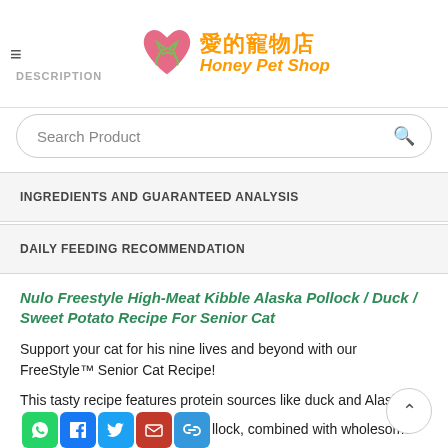愛的寵物店 Honey Pet Shop
DESCRIPTION
Search Product
INGREDIENTS AND GUARANTEED ANALYSIS
DAILY FEEDING RECOMMENDATION
Nulo Freestyle High-Meat Kibble Alaska Pollock / Duck / Sweet Potato Recipe For Senior Cat
Support your cat for his nine lives and beyond with our FreeStyle™ Senior Cat Recipe!
This tasty recipe features protein sources like duck and Alaska pollock, combined with wholesome ingredients like red and green lentils to keep your